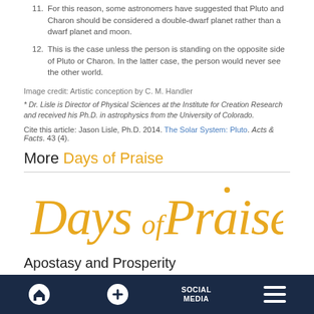11. For this reason, some astronomers have suggested that Pluto and Charon should be considered a double-dwarf planet rather than a dwarf planet and moon.
12. This is the case unless the person is standing on the opposite side of Pluto or Charon. In the latter case, the person would never see the other world.
Image credit: Artistic conception by C. M. Handler
* Dr. Lisle is Director of Physical Sciences at the Institute for Creation Research and received his Ph.D. in astrophysics from the University of Colorado.
Cite this article: Jason Lisle, Ph.D. 2014. The Solar System: Pluto. Acts & Facts. 43 (4).
More Days of Praise
[Figure (logo): Days of Praise logo in golden/orange script lettering]
Apostasy and Prosperity